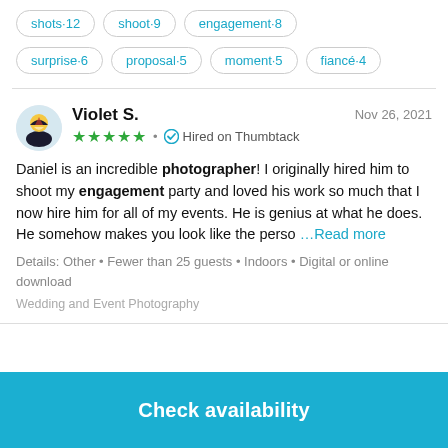shots·12  shoot·9  engagement·8
surprise·6  proposal·5  moment·5  fiancé·4
Violet S.  Nov 26, 2021  ★★★★★ • Hired on Thumbtack
Daniel is an incredible photographer! I originally hired him to shoot my engagement party and loved his work so much that I now hire him for all of my events. He is genius at what he does. He somehow makes you look like the perso ...Read more
Details: Other • Fewer than 25 guests • Indoors • Digital or online download
Wedding and Event Photography
Check availability